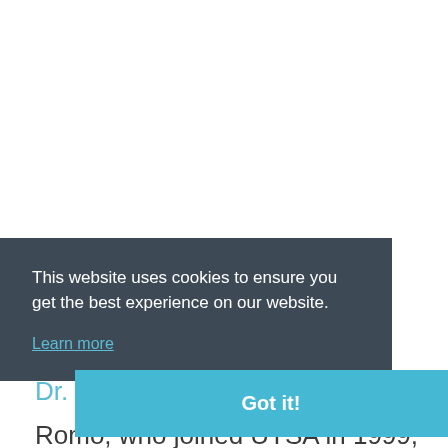[Figure (screenshot): Cookie consent banner overlay on a university webpage. The banner has a dark slate-blue background with white text reading 'This website uses cookies to ensure you get the best experience on our website.' with a 'Learn more' link in blue and a teal 'Got it!' button. Behind the banner, the page shows text about Dr. Ricardo Romo and a description mentioning UTSA 1999.]
This website uses cookies to ensure you get the best experience on our website.
Learn more
Got it!
Dr. Ricardo Romo
Romo, who joined UTSA in 1999, has led the university through a growth spurt that has